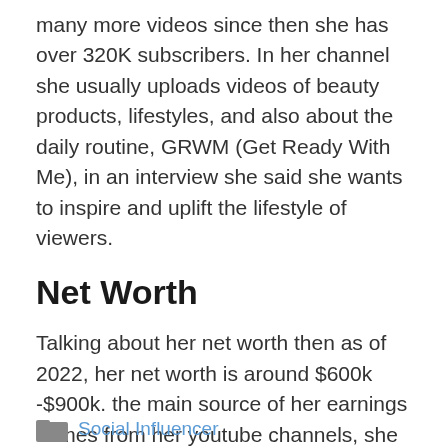many more videos since then she has over 320K subscribers. In her channel she usually uploads videos of beauty products, lifestyles, and also about the daily routine, GRWM (Get Ready With Me), in an interview she said she wants to inspire and uplift the lifestyle of viewers.
Net Worth
Talking about her net worth then as of 2022, her net worth is around $600k -$900k. the main source of her earnings comes from her youtube channels, she has also collaborated with other creators.
Social Influencer